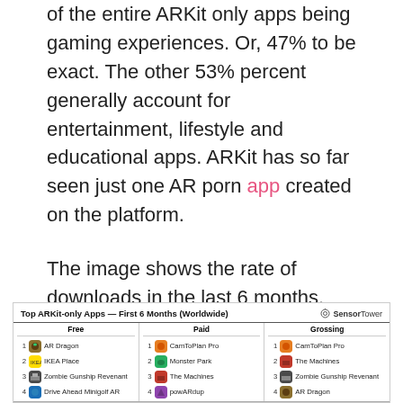AR games holds the top spot with almost half of the entire ARKit only apps being gaming experiences. Or, 47% to be exact. The other 53% percent generally account for entertainment, lifestyle and educational apps. ARKit has so far seen just one AR porn app created on the platform.

The image shows the rate of downloads in the last 6 months.
[Figure (table-as-image): Top ARKit-only Apps — First 6 Months (Worldwide) table from SensorTower showing Free, Paid, and Grossing categories with top 4 apps each. Free: 1. AR Dragon, 2. IKEA Place, 3. Zombie Gunship Revenant, 4. Drive Ahead Minigolf AR. Paid: 1. CamToPlan Pro, 2. Monster Park, 3. The Machines, 4. powARdup. Grossing: 1. CamToPlan Pro, 2. The Machines, 3. Zombie Gunship Revenant, 4. AR Dragon.]